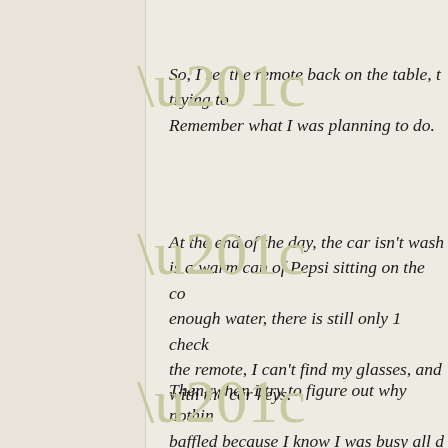So, I set the remote back on the table, trying to Remember what I was planning to do.
At the end of the day, the car isn't washed, there is a warm can of Pepsi sitting on the counter, not enough water, there is still only 1 checkmark on the remote, I can't find my glasses, and I'm done with the car keys.
Then, when I try to figure out why nothing got done, I'm baffled because I know I was busy all day long.